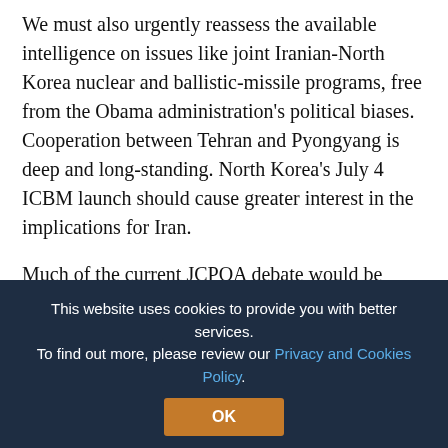We must also urgently reassess the available intelligence on issues like joint Iranian-North Korea nuclear and ballistic-missile programs, free from the Obama administration's political biases. Cooperation between Tehran and Pyongyang is deep and long-standing. North Korea's July 4 ICBM launch should cause greater interest in the implications for Iran.
Much of the current JCPOA debate would be strategically irrelevant if, as seems virtually certain, the ayatollahs can send a wire transfer to Kim Jung-un to purchase whatever capability North Korea develops.
In years past, appreciation for the Iranian and North Korean threats has invariably been enhanced by greater
Wisconsin Project's Valerie Lincy. She advocated declassifying the fourth semi-annual report (also required by INARA) specifying incidents of Iranian non-
This website uses cookies to provide you with better services. To find out more, please review our Privacy and Cookies Policy.
OK